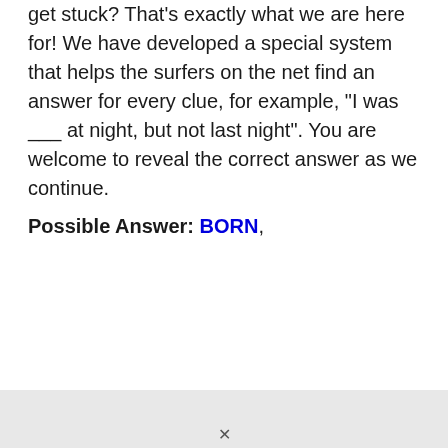get stuck? That's exactly what we are here for! We have developed a special system that helps the surfers on the net find an answer for every clue, for example, "I was ___ at night, but not last night". You are welcome to reveal the correct answer as we continue.
Possible Answer: BORN,